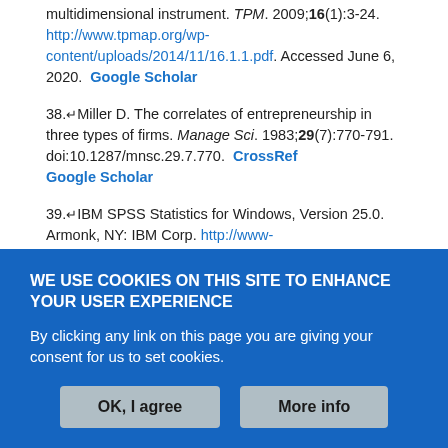multidimensional instrument. TPM. 2009;16(1):3-24. http://www.tpmap.org/wp-content/uploads/2014/11/16.1.1.pdf. Accessed June 6, 2020. Google Scholar
38. Miller D. The correlates of entrepreneurship in three types of firms. Manage Sci. 1983;29(7):770-791. doi:10.1287/mnsc.29.7.770. CrossRef Google Scholar
39. IBM SPSS Statistics for Windows, Version 25.0. Armonk, NY: IBM Corp. http://www-01.ibm.com/support/docview.wss?uid=swg21476197. Published 2017. Accessed June 6, 2020. Google Scholar
40. StataCorp. 2017. Stata Statistical Software: Release 15. College Station. TX: StataCorp LLC. https://www.stata.com/support/faqs/resources/citing-software-
WE USE COOKIES ON THIS SITE TO ENHANCE YOUR USER EXPERIENCE
By clicking any link on this page you are giving your consent for us to set cookies.
OK, I agree | More info